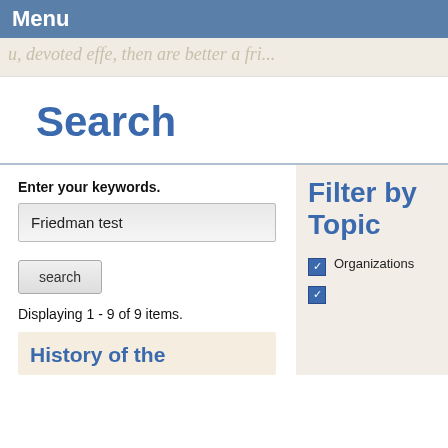Menu
[Figure (illustration): Decorative cursive/script handwriting background strip in beige/tan color]
Search
Enter your keywords.
Friedman test
search
Displaying 1 - 9 of 9 items.
History of the
Filter by Topic
Organizations
(second checkbox item, partially visible)